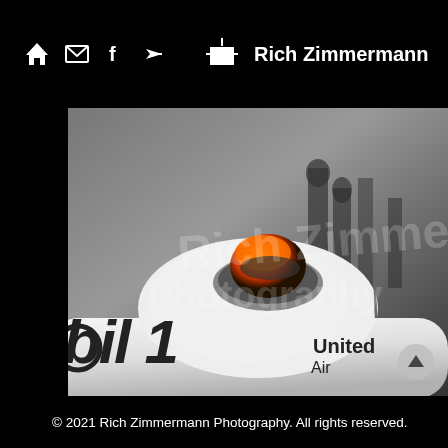Rich Zimmermann Photography - navigation header
[Figure (photo): Close-up photograph of a white Formula 1 race car showing the nose/cockpit area with Mobil 1 and United Airlines sponsor logos visible. A driver in an orange helmet is partially visible. A semi-transparent watermark reads 'Rich Zimmermann Photography' over the image. The background is dark/blurred pit lane environment.]
© 2021 Rich Zimmermann Photography. All rights reserved.